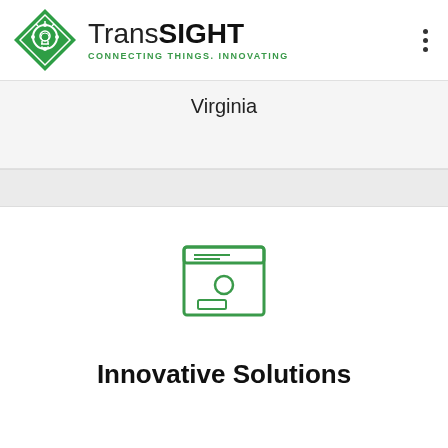[Figure (logo): TransSIGHT logo: green diamond shape with lightbulb/gear icon inside, next to text 'TransSIGHT' with tagline 'CONNECTING THINGS. INNOVATING']
Virginia
[Figure (illustration): Green outline icon of a device/server or mailbox-like box with screen and circle detail]
Innovative Solutions